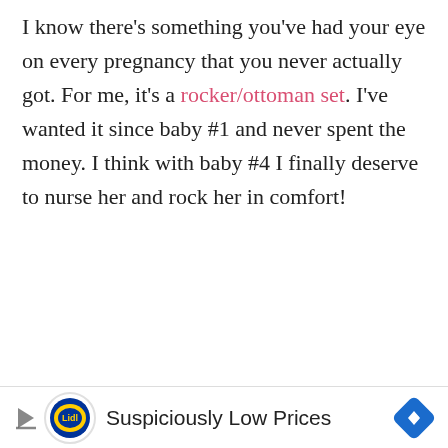I know there's something you've had your eye on every pregnancy that you never actually got. For me, it's a rocker/ottoman set. I've wanted it since baby #1 and never spent the money. I think with baby #4 I finally deserve to nurse her and rock her in comfort!
[Figure (photo): A coastal-themed nursery room showing a rocking chair in the foreground, white beadboard wainscoting on walls painted pale blue, two starfish wall decorations, a lamp with a woven shade on a dark dresser, framed artwork on the wall including a seahorse print, and white blinds on a window.]
[Figure (photo): Lidl advertisement banner showing the Lidl logo (blue circle with yellow star), text 'Suspiciously Low Prices', a play/skip button icon on the left, and a blue diamond navigation arrow on the right.]